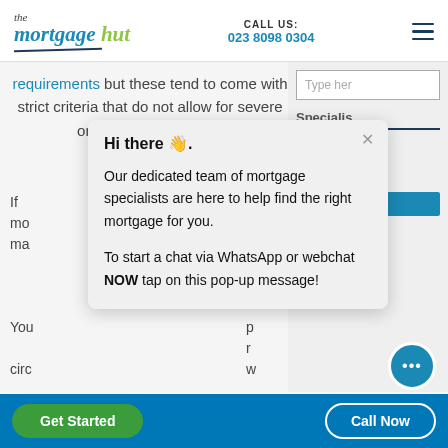[Figure (screenshot): The Mortgage Hut website header with logo, phone number 023 8098 0304, and hamburger menu]
requirements but these tend to come with strict criteria that do not allow for severe or recent bad issues.
[Figure (screenshot): Chat popup overlay with message: Hi there. Our dedicated team of mortgage specialists are here to help find the right mortgage for you. To start a chat via WhatsApp or webchat NOW tap on this pop-up message!]
Specialists
First Tim
House M
Bad Cre
Get Started
Call Now